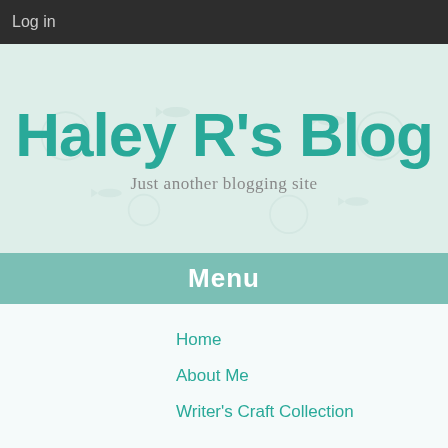Log in
Haley R's Blog
Just another blogging site
Menu
Home
About Me
Writer's Craft Collection